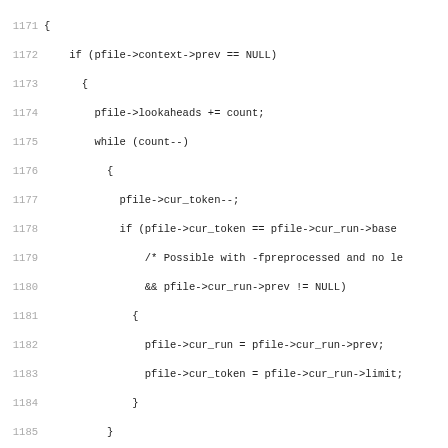[Figure (screenshot): Source code listing in C showing lines 1171-1202, depicting a code block handling pfile context, lookaheads, token manipulation, and function definitions including warn_of_redefinition]